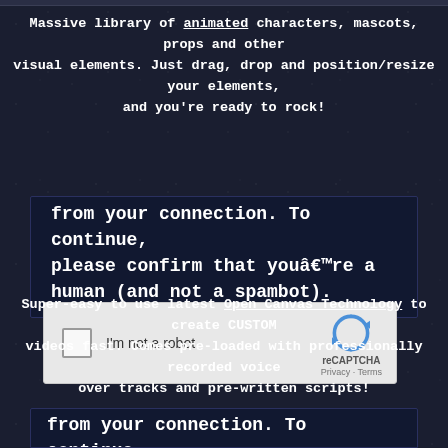Massive library of animated characters, mascots, props and other visual elements. Just drag, drop and position/resize your elements, and you're ready to rock!
[Figure (screenshot): Dark navy modal box with text about confirming you are human and not a spambot, plus a reCAPTCHA widget with checkbox labeled 'I'm not a robot']
Super-easy to use latest Open Canvas Technology to create CUSTOM videos fast. Comes pre-loaded with professionally recorded voice over tracks and pre-written scripts!
[Figure (screenshot): Partial view of a second dark navy modal box with text 'from your connection. To continue, please confirm that you're a...' cut off at bottom]